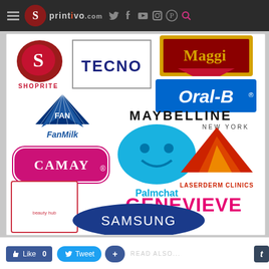printivo.com website header with navigation icons: hamburger menu, logo, twitter, facebook, youtube, instagram, pinterest, search
[Figure (logo): Grid of brand logos: Shoprite, Maggi, Tecno, Oral-B, Fan Milk (FAN), Maybelline New York, Camay, Palmchat, Laserderm Clinics, Genevieve, Samsung, and a beauty-related logo]
Like 0  Tweet  +  t  READ ALSO...